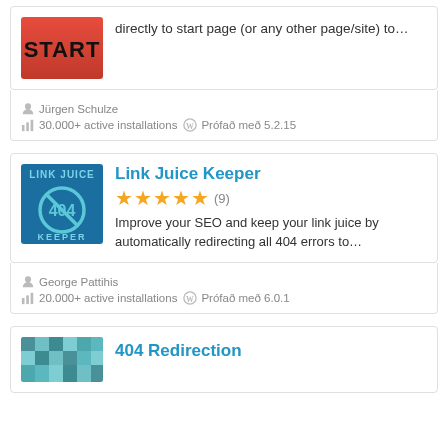[Figure (illustration): Red gradient rectangle with bold text START]
directly to start page (or any other page/site) to…
Jürgen Schulze
30.000+ active installations  Prófað með 5.2.15
[Figure (logo): Link Juice Keeper plugin logo: blue background with 404 crossed-out symbol and text LINK JUICE KEEPER]
Link Juice Keeper
★★★★½ (9)
Improve your SEO and keep your link juice by automatically redirecting all 404 errors to…
George Pattihis
20.000+ active installations  Prófað með 6.0.1
[Figure (screenshot): Pixel/teal image thumbnail for 404 Redirection plugin]
404 Redirection